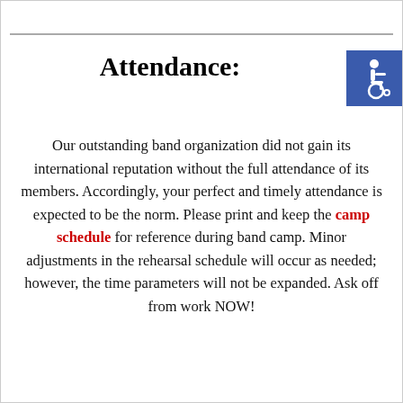Attendance:
[Figure (illustration): Blue accessibility wheelchair icon symbol on a blue square background, positioned in the top right corner]
Our outstanding band organization did not gain its international reputation without the full attendance of its members. Accordingly, your perfect and timely attendance is expected to be the norm. Please print and keep the camp schedule for reference during band camp. Minor adjustments in the rehearsal schedule will occur as needed; however, the time parameters will not be expanded. Ask off from work NOW!